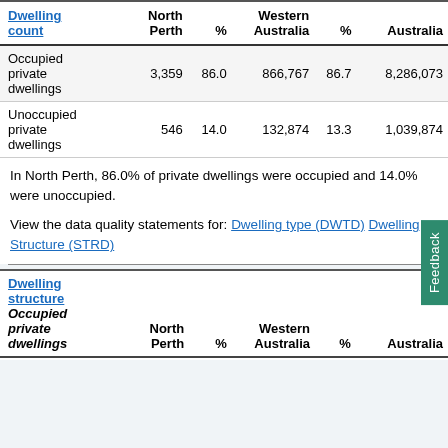| Dwelling count | North Perth | % | Western Australia | % | Australia |
| --- | --- | --- | --- | --- | --- |
| Occupied private dwellings | 3,359 | 86.0 | 866,767 | 86.7 | 8,286,073 |
| Unoccupied private dwellings | 546 | 14.0 | 132,874 | 13.3 | 1,039,874 |
In North Perth, 86.0% of private dwellings were occupied and 14.0% were unoccupied.
View the data quality statements for: Dwelling type (DWTD) Dwelling Structure (STRD)
| Dwelling structure
Occupied private dwellings | North Perth | % | Western Australia | % | Australia |
| --- | --- | --- | --- | --- | --- |